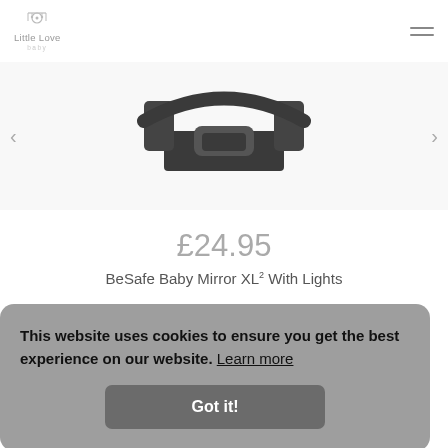Little Love Baby
[Figure (photo): Partial view of a dark-colored baby car seat handle/mirror product against white background, shown in a carousel with left and right navigation arrows]
£24.95
BeSafe Baby Mirror XL² With Lights
This website uses cookies to ensure you get the best experience on our website.  Learn more
Got it!
About Us